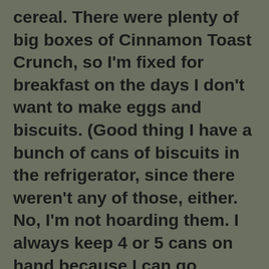cereal. There were plenty of big boxes of Cinnamon Toast Crunch, so I'm fixed for breakfast on the days I don't want to make eggs and biscuits. (Good thing I have a bunch of cans of biscuits in the refrigerator, since there weren't any of those, either. No, I'm not hoarding them. I always keep 4 or 5 cans on hand because I can go through 3 cans in a week...depending on when I'm having breakfast at home and when I'm having it at Joyce's.) I guess hoarders don't like Cinnamon Toast Crunch (shows you what dumbasses the hoarders are lol), or it just shows that the staff at Target was refilling the cereal aisle first. It's not like there isn't food; it's that people are